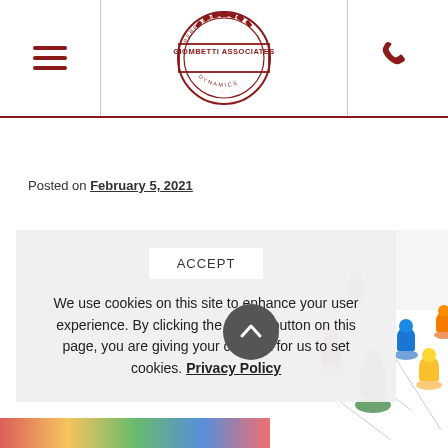Giombetti Associates — navigation header with hamburger menu, logo, and phone icon
Posted on February 5, 2021
[Figure (screenshot): Cookie consent overlay with ACCEPT button and text: We use cookies on this site to enhance your user experience. By clicking the Accept button on this page, you are giving your consent for us to set cookies. Privacy Policy]
[Figure (photo): Colorful board game pawn pieces (green, red, blue, yellow, orange) arranged on a white game board, partially visible]